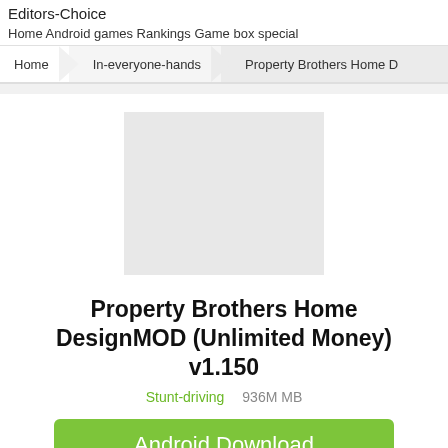Editors-Choice
Home Android games Rankings Game box special
Home   In-everyone-hands   Property Brothers Home D
[Figure (screenshot): Grey placeholder rectangle for app icon]
Property Brothers Home DesignMOD (Unlimited Money) v1.150
Stunt-driving    936M MB
Android Download